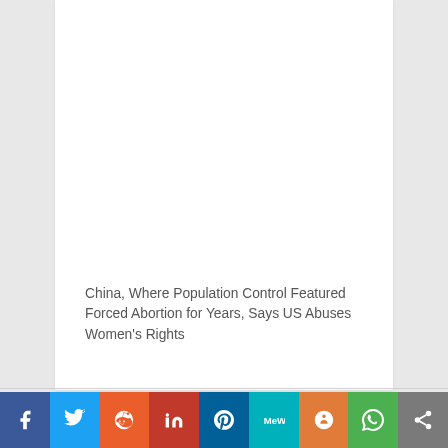China, Where Population Control Featured Forced Abortion for Years, Says US Abuses Women's Rights
[Figure (other): Social sharing bar with icons for Facebook, Twitter, Reddit, LinkedIn, Pinterest, MeWe, Mix, WhatsApp, and Share]